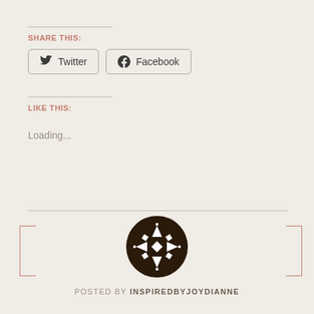SHARE THIS:
Twitter  Facebook
LIKE THIS:
Loading...
[Figure (illustration): Circular avatar/logo with dark brown background and geometric snowflake/star pattern made of triangles and diamond shapes in white/cream]
POSTED BY INSPIREDBYJOYDIANNE